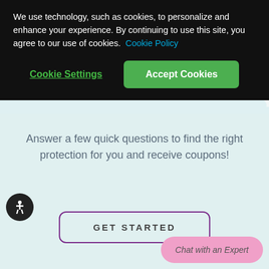We use technology, such as cookies, to personalize and enhance your experience. By continuing to use this site, you agree to our use of cookies.  Cookie Policy
Cookie Settings
Accept Cookies
[Figure (photo): Multiple feminine hygiene product packages displayed side by side against a light teal background, showing various Poise/Always products with purple packaging]
Answer a few quick questions to find the right protection for you and receive coupons!
GET STARTED
Chat with an Expert